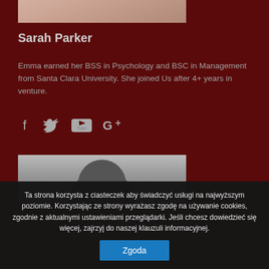[Figure (photo): Partial view of a woman's photo at the top, cropped]
Sarah Parker
Emma earned her BSS in Psychology and BSC in Management from Santa Clara University. She joined Us after 4+ years in venture.
[Figure (infographic): Social media icons: Facebook, Twitter, YouTube, Google+]
[Figure (photo): Partial black and white photo of a person with curly hair, top portion visible]
Ta strona korzysta z ciasteczek aby świadczyć usługi na najwyższym poziomie. Korzystając ze strony wyrażasz zgodę na używanie cookies, zgodnie z aktualnymi ustawieniami przeglądarki. Jeśli chcesz dowiedzieć się więcej, zajrzyj do naszej klauzuli informacyjnej.
Zgoda